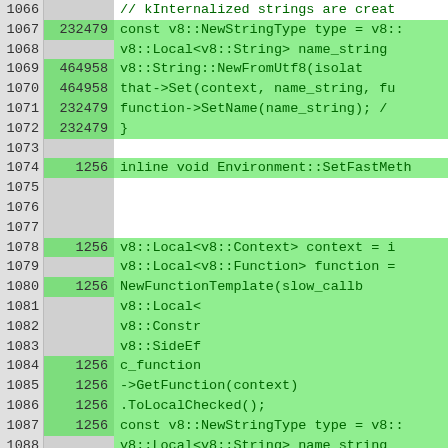[Figure (screenshot): Code coverage viewer showing C++ source lines 1066-1092. Lines have line numbers, execution counts (in grey/green columns), and code text on green or white background. Green background indicates covered lines, white/grey indicates uncovered.]